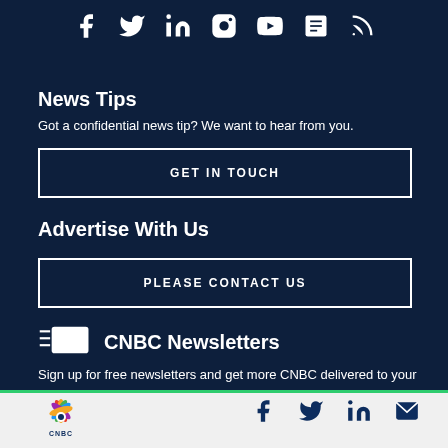[Figure (other): Social media icons row: Facebook, Twitter, LinkedIn, Instagram, YouTube, Apple News, RSS]
News Tips
Got a confidential news tip? We want to hear from you.
GET IN TOUCH
Advertise With Us
PLEASE CONTACT US
CNBC Newsletters
Sign up for free newsletters and get more CNBC delivered to your inbox
[Figure (logo): CNBC logo with peacock icon in footer bar]
[Figure (other): Footer social icons: Facebook, Twitter, LinkedIn, Email]